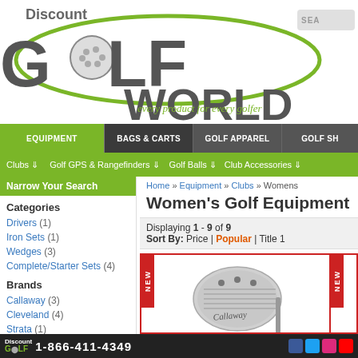[Figure (logo): Discount Golf World logo with green arc, golf ball in O, tagline 'every product for every golfer']
EQUIPMENT | BAGS & CARTS | GOLF APPAREL | GOLF SH...
Clubs ⇓  Golf GPS & Rangefinders ⇓  Golf Balls ⇓  Club Accessories ⇓
Narrow Your Search
Categories
Drivers (1)
Iron Sets (1)
Wedges (3)
Complete/Starter Sets (4)
Brands
Callaway  (3)
Cleveland  (4)
Strata  (1)
Titleist  (1)
Home » Equipment » Clubs » Womens
Women's Golf Equipment
Displaying 1 - 9 of 9
Sort By:  Price  |  Popular  |  Title  1
[Figure (photo): Callaway women's golf wedge club, silver, shown against white background, with NEW badge]
Discount Golf World  1-866-411-4349